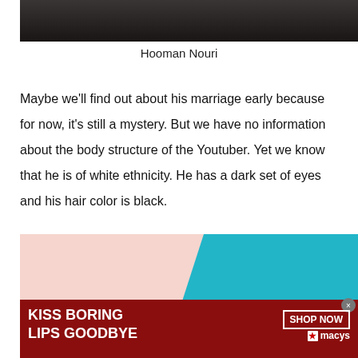[Figure (photo): Partial photo of Hooman Nouri, cropped at top showing dark clothing background]
Hooman Nouri
Maybe we'll find out about his marriage early because for now, it's still a mystery. But we have no information about the body structure of the Youtuber. Yet we know that he is of white ethnicity. He has a dark set of eyes and his hair color is black.
[Figure (photo): Advertisement banner: Kiss Boring Lips Goodbye - Macy's Shop Now. Features a woman with red lips on pink and teal background.]